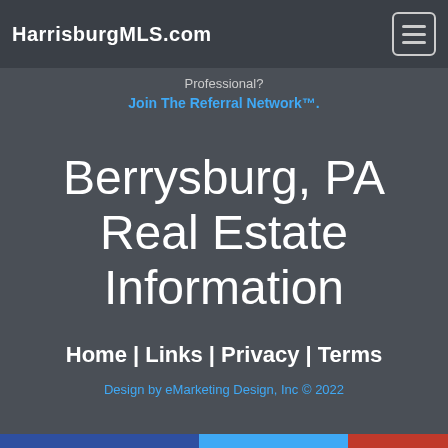HarrisburgMLS.com
Professional?
Join The Referral Network™.
Berrysburg, PA Real Estate Information
Home | Links | Privacy | Terms
Design by eMarketing Design, Inc © 2022